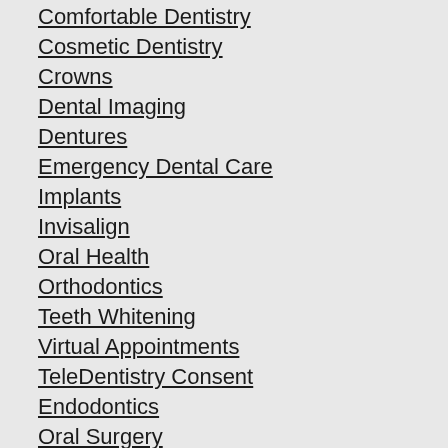Comfortable Dentistry
Cosmetic Dentistry
Crowns
Dental Imaging
Dentures
Emergency Dental Care
Implants
Invisalign
Oral Health
Orthodontics
Teeth Whitening
Virtual Appointments
TeleDentistry Consent
Endodontics
Oral Surgery
Periodontal Services